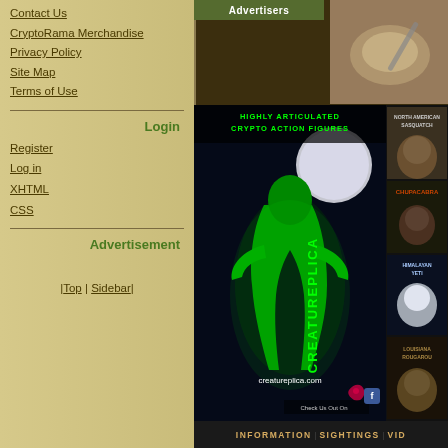Contact Us
CryptoRama Merchandise
Privacy Policy
Site Map
Terms of Use
Login
Register
Log in
XHTML
CSS
Advertisement
|Top | Sidebar|
Advertisers
[Figure (illustration): CreatureReplica.com advertisement showing a Bigfoot figure with green glow, moon background, text 'Highly Articulated Crypto Action Figures', creatureplica.com URL, Check Us Out On Facebook. Side strip shows North American Sasquatch, Chupacabra, Himalayan Yeti, and Louisiana Rougarou figures.]
INFORMATION | SIGHTINGS | VID
[Figure (photo): Dark creature/cryptid photo at bottom]